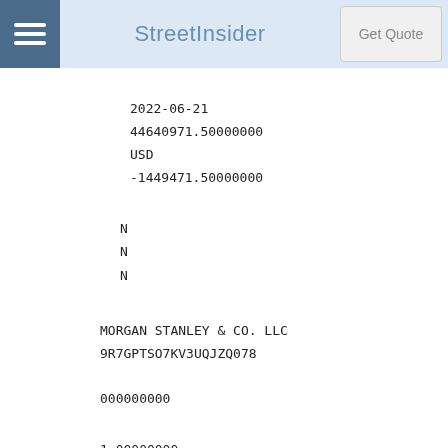StreetInsider
2022-06-21
44640971.50000000
USD
-1449471.50000000
N
N
N
MORGAN STANLEY & CO. LLC
9R7GPTSO7KV3UQJZQ078

000000000
1.00000000